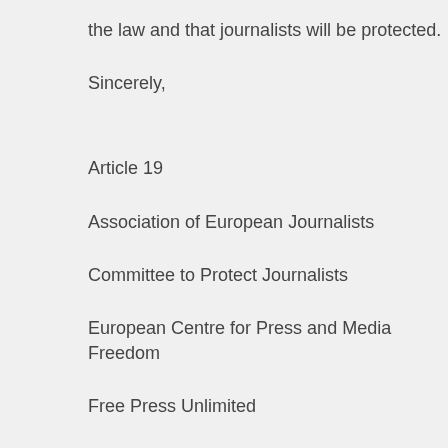the law and that journalists will be protected.
Sincerely,
Article 19
Association of European Journalists
Committee to Protect Journalists
European Centre for Press and Media Freedom
Free Press Unlimited
IFEX